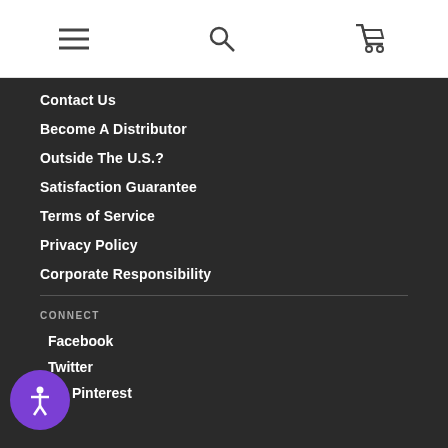Navigation header with hamburger menu, search icon, and cart icon
Contact Us
Become A Distributor
Outside The U.S.?
Satisfaction Guarantee
Terms of Service
Privacy Policy
Corporate Responsibility
CONNECT
Facebook
Twitter
Pinterest